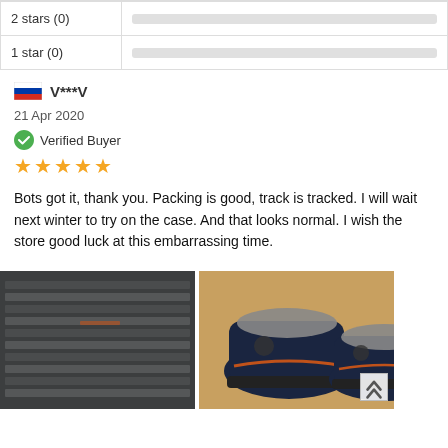| Rating | Bar |
| --- | --- |
| 2 stars (0) |  |
| 1 star (0) |  |
V***V
21 Apr 2020
Verified Buyer
★★★★★
Bots got it, thank you. Packing is good, track is tracked. I will wait next winter to try on the case. And that looks normal. I wish the store good luck at this embarrassing time.
[Figure (photo): Photo of a shoe in plastic packaging wrapping, appears to be bubble wrap or clear plastic]
[Figure (photo): Photo of dark navy blue boots/shoes with orange accents on a patterned rug]